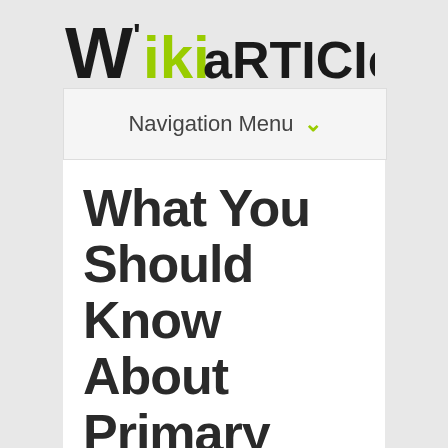[Figure (logo): Wiki Articles logo with stylized W and green 'iki' text followed by 'articles' in black]
Navigation Menu ∨
What You Should Know About Primary Care Doctor in Starkville